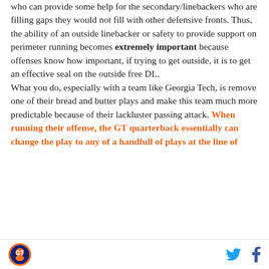who can provide some help for the secondary/linebackers who are filling gaps they would not fill with other defensive fronts. Thus, the ability of an outside linebacker or safety to provide support on perimeter running becomes extremely important because offenses know how important, if trying to get outside, it is to get an effective seal on the outside free DL.

What you do, especially with a team like Georgia Tech, is remove one of their bread and butter plays and make this team much more predictable because of their lackluster passing attack. When running their offense, the GT quarterback essentially can change the play to any of a handfull of plays at the line of
[logo] [twitter] [facebook]